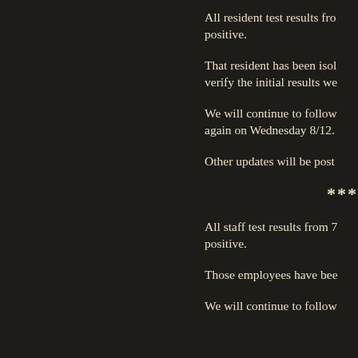All resident test results from [date] were positive.
That resident has been isolated and retested to verify the initial results we[re correct].
We will continue to follow [protocol and will test] again on Wednesday 8/12.
Other updates will be post[ed as available].
***
All staff test results from 7[/...] were positive.
Those employees have bee[n notified].
We will continue to follow[...]